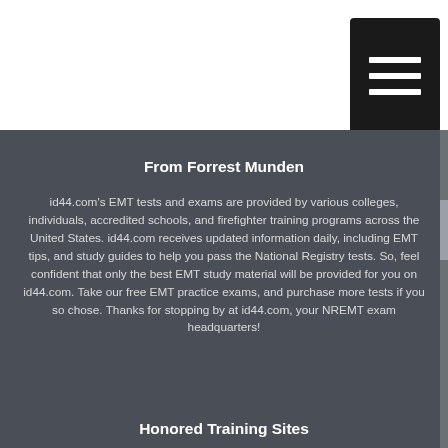[Figure (other): Black hamburger menu button icon in top right corner]
From Forrest Munden
id44.com's EMT tests and exams are provided by various colleges, individuals, accredited schools, and firefighter training programs across the United States. id44.com receives updated information daily, including EMT tips, and study guides to help you pass the National Registry tests. So, feel confident that only the best EMT study material will be provided for you on id44.com. Take our free EMT practice exams, and purchase more tests if you so chose. Thanks for stopping by at id44.com, your NREMT exam headquarters!
Honored Training Sites